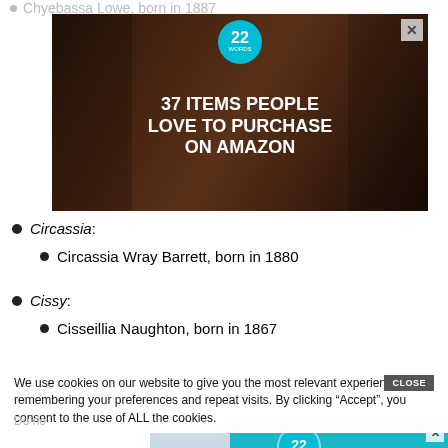Chyebassa Lowe, born in 1887
[Figure (other): Advertisement banner: 37 items people love to purchase on Amazon, with teal badge showing '22' and kitchen items background]
Circassia:
Circassia Wray Barrett, born in 1880
Cissy:
Cisseillia Naughton, born in 1867
We use cookies on our website to give you the most relevant experience by remembering your preferences and repeat visits. By clicking “Accept”, you consent to the use of ALL the cookies.
Do no
[Figure (other): Advertisement banner: 37 beauty products with such good reviews you might want to try them yourself, with teal background and woman photo]